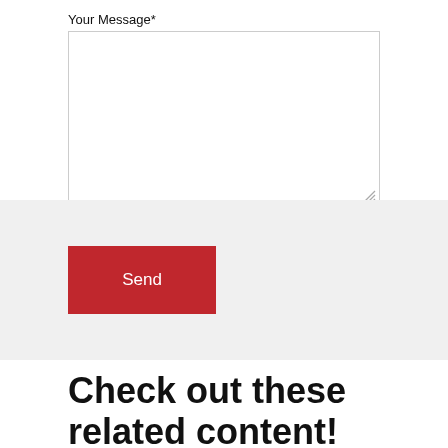Your Message*
[Figure (screenshot): Text area input field for message, white background with border and resize handle]
[Figure (screenshot): Red Send button on gray background]
Check out these related content!